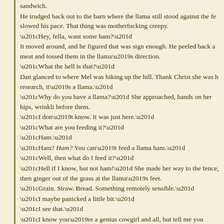sandwich.
He trudged back out to the barn where the llama still stood against the fe slowed his pace. That thing was motherfucking creepy.
“Hey, fella, want some ham?”
It moved around, and he figured that was sign enough. He peeled back a meat and tossed them in the llama’s direction.
“What the hell is that?”
Dan glanced to where Mel was hiking up the hill. Thank Christ she was h research, it’s a llama.”
“Why do you have a llama?” She approached, hands on her hips, wrinkli before them.
“I don’t know. It was just here.”
“What are you feeding it?”
“Ham.”
“Ham? Ham? You can’t feed a llama ham.”
“Well, then what do I feed it?”
“Hell if I know, but not ham!” She made her way to the fence, then ginger out of the grass at the llama’s feet.
“Grain. Straw. Bread. Something remotely sensible.”
“I maybe panicked a little bit.”
“I see that.”
“I know you’re a genius cowgirl and all, but tell me you wouldn’t panic if y you by a llama.”
“My panic rarely involves ham,” she said drily.
“Fair enough.”